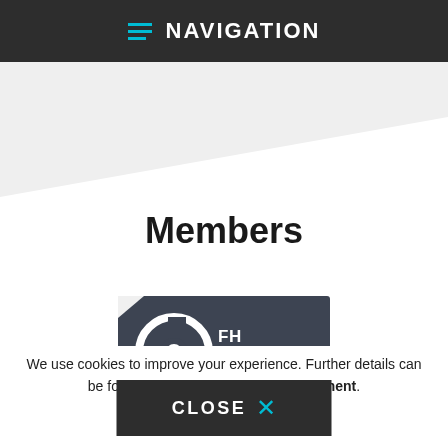NAVIGATION
Members
[Figure (logo): FH Campus Wien - University of Applied Sciences logo on dark background]
We use cookies to improve your experience. Further details can be found in our data protection statement.